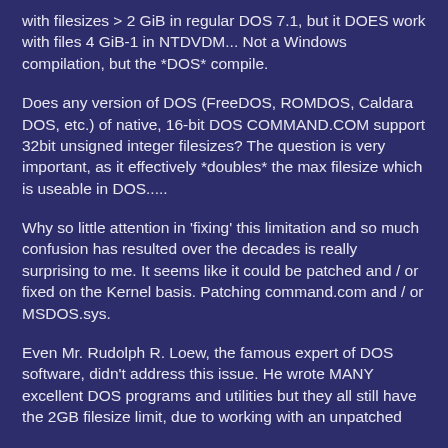with filesizes > 2 GiB in regular DOS 7.1, but it DOES work with files 4 GiB-1 in NTDVDM... Not a Windows compilation, but the *DOS* compile.
Does any version of DOS (FreeDOS, ROMDOS, Caldara DOS, etc.) of native, 16-bit DOS COMMAND.COM support 32bit unsigned integer filesizes? The question is very important, as it effectively *doubles* the max filesize which is useable in DOS.....
Why so little attention in 'fixing' this limitation and so much confusion has resulted over the decades is really surprising to me. It seems like it could be patched and / or fixed on the Kernel basis. Patching command.com and / or MSDOS.sys.
Even Mr. Rudolph R. Loew, the famous expert of DOS software, didn't address this issue. He wrote MANY excellent DOS programs and utilities but they all still have the 2GB filesize limit, due to working with an unpatched